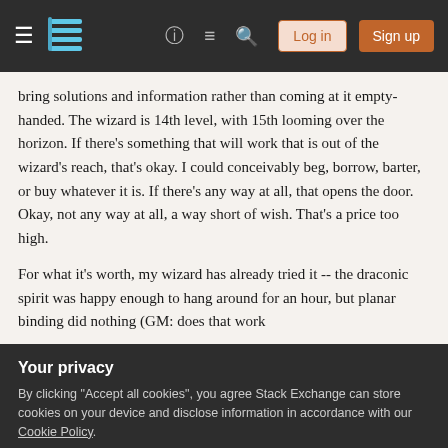Stack Exchange navigation bar with hamburger menu, logo, help, chat, search icons, Log in and Sign up buttons
bring solutions and information rather than coming at it empty-handed. The wizard is 14th level, with 15th looming over the horizon. If there's something that will work that is out of the wizard's reach, that's okay. I could conceivably beg, borrow, barter, or buy whatever it is. If there's any way at all, that opens the door. Okay, not any way at all, a way short of wish. That's a price too high.
For what it's worth, my wizard has already tried it -- the draconic spirit was happy enough to hang around for an hour, but planar binding did nothing (GM: does that work
Your privacy
By clicking "Accept all cookies", you agree Stack Exchange can store cookies on your device and disclose information in accordance with our Cookie Policy.
So, my question is this: how can I extend the stay of a